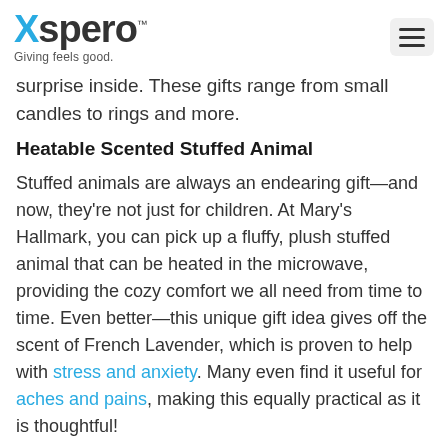Xspero™ — Giving feels good.
surprise inside. These gifts range from small candles to rings and more.
Heatable Scented Stuffed Animal
Stuffed animals are always an endearing gift—and now, they're not just for children. At Mary's Hallmark, you can pick up a fluffy, plush stuffed animal that can be heated in the microwave, providing the cozy comfort we all need from time to time. Even better—this unique gift idea gives off the scent of French Lavender, which is proven to help with stress and anxiety. Many even find it useful for aches and pains, making this equally practical as it is thoughtful!
Personalized Ornament
For something small and thoughtful, a personalized